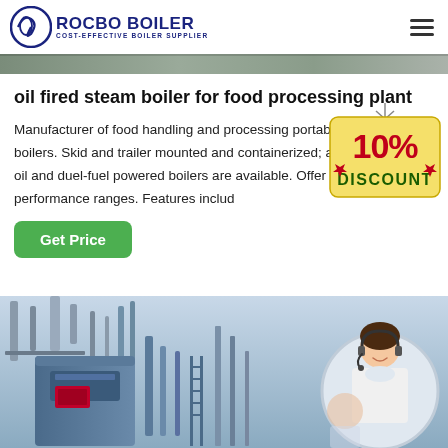[Figure (logo): Rocbo Boiler logo with circular icon and text 'ROCBO BOILER COST-EFFECTIVE BOILER SUPPLIER']
[Figure (photo): Top banner photo strip showing industrial/boiler facility]
oil fired steam boiler for food processing plant
Manufacturer of food handling and processing portable steam boilers. Skid and trailer mounted and containerized; and gas, oil and duel-fuel powered boilers are available. Offer 800 BHP performance ranges. Features includ
[Figure (infographic): 10% DISCOUNT badge/sticker graphic in red and yellow]
[Figure (other): Green 'Get Price' button]
[Figure (photo): Bottom composite image showing industrial boiler equipment on the left and a female customer service representative with headset on the right in a circular frame]